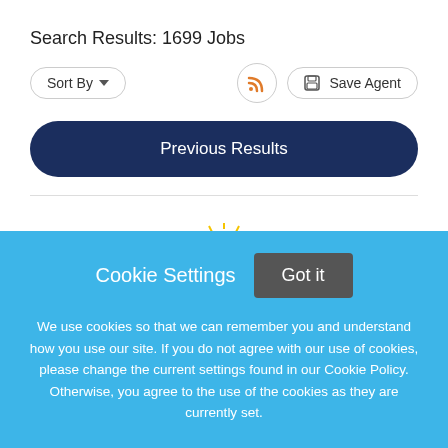Search Results: 1699 Jobs
Sort By
Save Agent
Previous Results
[Figure (logo): Partially visible logo with yellow/gold sunburst icon]
Cookie Settings
Got it
We use cookies so that we can remember you and understand how you use our site. If you do not agree with our use of cookies, please change the current settings found in our Cookie Policy. Otherwise, you agree to the use of the cookies as they are currently set.